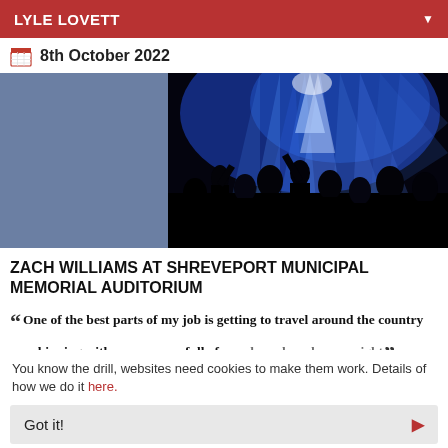LYLE LOVETT
8th October 2022
[Figure (photo): Concert photo showing silhouettes of audience members with arms raised against bright blue stage lights and laser beams. Left portion shows a solid blue-grey rectangle placeholder.]
ZACH WILLIAMS AT SHREVEPORT MUNICIPAL MEMORIAL AUDITORIUM
“ One of the best parts of my job is getting to travel around the country worshipping with a new room full of people each and every night ”
You know the drill, websites need cookies to make them work. Details of how we do it here.
Got it!